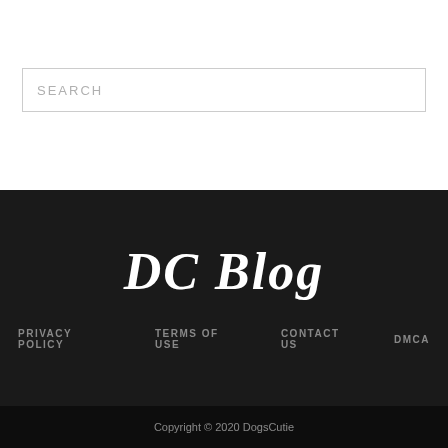SEARCH
DC Blog
PRIVACY POLICY
TERMS OF USE
CONTACT US
DMCA
Copyright © 2020 DogsCutie